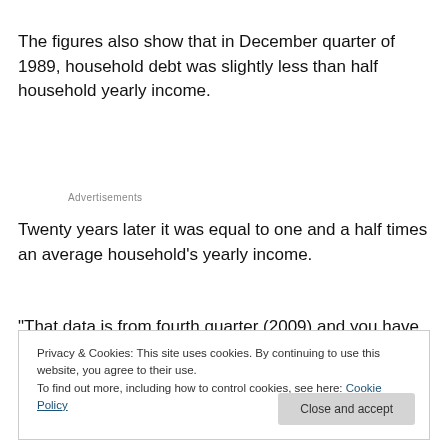The figures also show that in December quarter of 1989, household debt was slightly less than half household yearly income.
Advertisements
Twenty years later it was equal to one and a half times an average household's yearly income.
“That data is from fourth quarter (2009) and you have to
Privacy & Cookies: This site uses cookies. By continuing to use this website, you agree to their use.
To find out more, including how to control cookies, see here: Cookie Policy